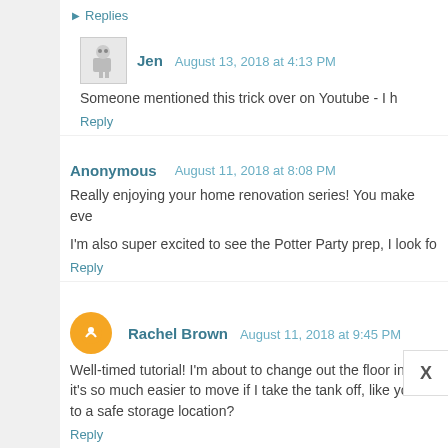▶ Replies
Jen  August 13, 2018 at 4:13 PM
Someone mentioned this trick over on Youtube - I h
Reply
Anonymous  August 11, 2018 at 8:08 PM
Really enjoying your home renovation series! You make eve
I'm also super excited to see the Potter Party prep, I look fo
Reply
Rachel Brown  August 11, 2018 at 9:45 PM
Well-timed tutorial! I'm about to change out the floor in my it's so much easier to move if I take the tank off, like you di to a safe storage location?
Reply
▶ Replies